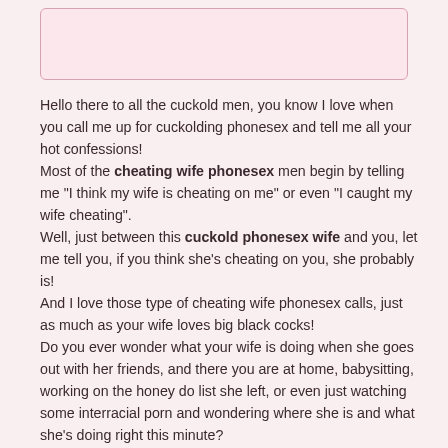[Figure (other): Pink rounded rectangle box at top of page]
Hello there to all the cuckold men, you know I love when you call me up for cuckolding phonesex and tell me all your hot confessions! Most of the cheating wife phonesex men begin by telling me “I think my wife is cheating on me” or even “I caught my wife cheating”. Well, just between this cuckold phonesex wife and you, let me tell you, if you think she’s cheating on you, she probably is! And I love those type of cheating wife phonesex calls, just as much as your wife loves big black cocks! Do you ever wonder what your wife is doing when she goes out with her friends, and there you are at home, babysitting, working on the honey do list she left, or even just watching some interracial porn and wondering where she is and what she’s doing right this minute? Is she in a no tell motel room somewhere, with someone she met at her gym? Doing a slow sexy cheating wife strip tease or lap dance in nothing but stripper heels for one of the men who hit on her hot ass all day long? Do you have the whole cheating wife confrontation playing over and over in your mind, you being the cuckold husband, laying down the law, demanding to know just what she was doing and who she was